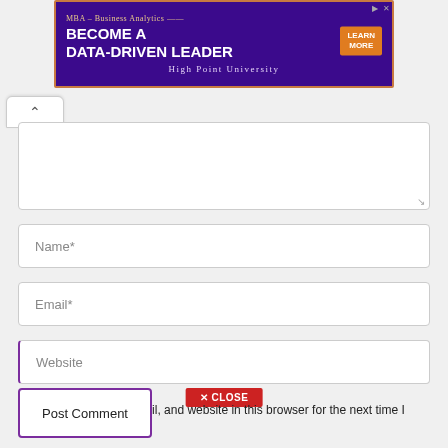[Figure (screenshot): Advertisement banner for High Point University MBA – Business Analytics program with purple background, orange border, white text 'BECOME A DATA-DRIVEN LEADER', and orange 'LEARN MORE' button]
[Figure (screenshot): Web comment form with scroll-up arrow button, textarea for comment, Name*, Email*, Website fields, a red CLOSE button, a save checkbox, and a Post Comment button with purple border]